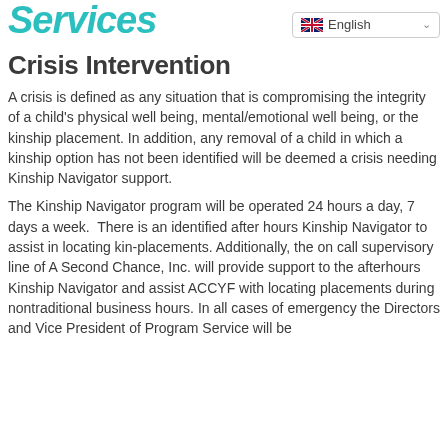Services
Crisis Intervention
A crisis is defined as any situation that is compromising the integrity of a child's physical well being, mental/emotional well being, or the kinship placement. In addition, any removal of a child in which a kinship option has not been identified will be deemed a crisis needing Kinship Navigator support.
The Kinship Navigator program will be operated 24 hours a day, 7 days a week.  There is an identified after hours Kinship Navigator to assist in locating kin-placements. Additionally, the on call supervisory line of A Second Chance, Inc. will provide support to the afterhours Kinship Navigator and assist ACCYF with locating placements during nontraditional business hours. In all cases of emergency the Directors and Vice President of Program Service will be